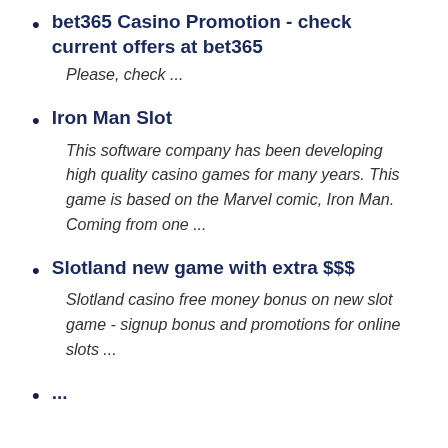bet365 Casino Promotion - check current offers at bet365
Please, check ...
Iron Man Slot
This software company has been developing high quality casino games for many years. This game is based on the Marvel comic, Iron Man. Coming from one ...
Slotland new game with extra $$$
Slotland casino free money bonus on new slot game - signup bonus and promotions for online slots ...
...